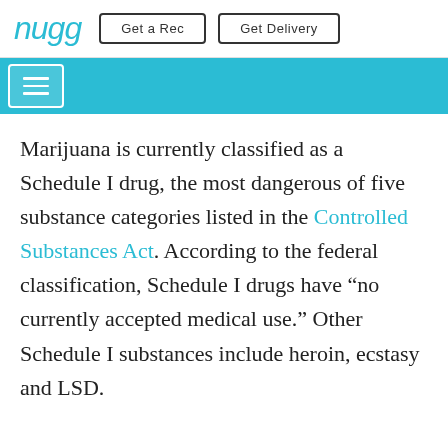Nugg | Get a Rec | Get Delivery
Marijuana is currently classified as a Schedule I drug, the most dangerous of five substance categories listed in the Controlled Substances Act. According to the federal classification, Schedule I drugs have “no currently accepted medical use.” Other Schedule I substances include heroin, ecstasy and LSD.